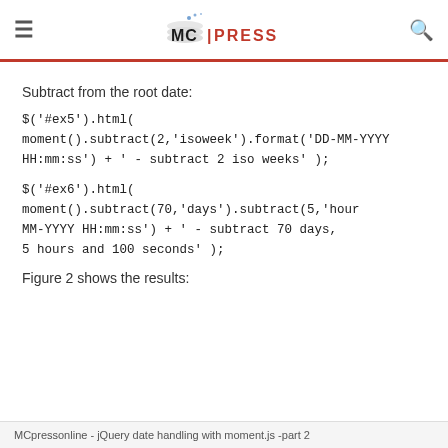MC PRESS
Subtract from the root date:
$('#ex5').html(
moment().subtract(2,'isoweek').format('DD-MM-YYYY HH:mm:ss') + ' - subtract 2 iso weeks' );
$('#ex6').html(
moment().subtract(70,'days').subtract(5,'hours').format('DD-MM-YYYY HH:mm:ss') + ' - subtract 70 days, 5 hours and 100 seconds' );
Figure 2 shows the results:
MCpressonline - jQuery date handling with moment.js -part 2